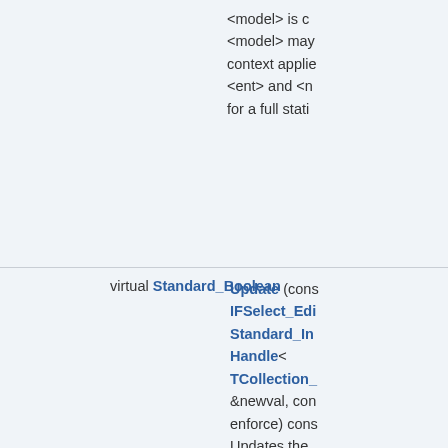<model> is c... <model> may... context applie... <ent> and <n... for a full stati...
virtual Standard_Boolean Update (cons IFSelect_Edi... Standard_In... Handle< TCollection_... &newval, con... enforce) cons... Updates the ... parameter is ... does nothing... as follows : R... done (even if... in case of ref... the new valu... <num> is the...